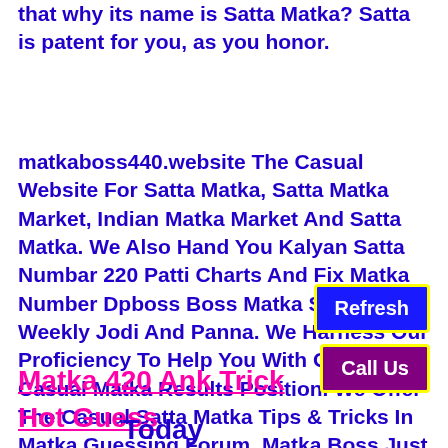that why its name is Satta Matka? Satta is patent for you, as you honor.
matkaboss440.website The Casual Website For Satta Matka, Satta Matka Market, Indian Matka Market And Satta Matka. We Also Hand You Kalyan Satta Numbar 220 Patti Charts And Fix Matka Number Dpboss Boss Matka Satta Weekly Jodi And Panna. We Harness Our Proficiency To Help You With Get India's Casual Matka Results Position. We Offer The Casual Satta Matka Tips & Tricks In Matka Guessing Forum. Matka Boss Just Visit Our Site & Get Perennial Lines Game, Date Fix And Free Matka 420 Number Guessing
Refresh
Call Us
Matka 420 Ank Trick Hot Guess
Today